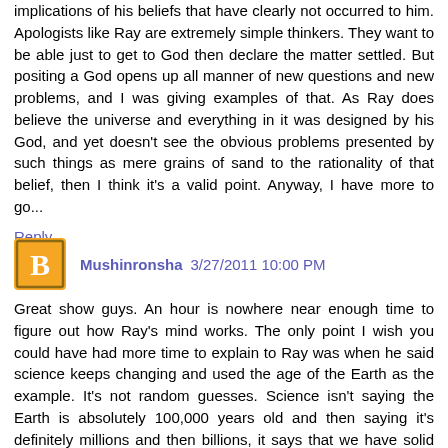implications of his beliefs that have clearly not occurred to him. Apologists like Ray are extremely simple thinkers. They want to be able just to get to God then declare the matter settled. But positing a God opens up all manner of new questions and new problems, and I was giving examples of that. As Ray does believe the universe and everything in it was designed by his God, and yet doesn't see the obvious problems presented by such things as mere grains of sand to the rationality of that belief, then I think it's a valid point. Anyway, I have more to go...
Reply
Mushinronsha 3/27/2011 10:00 PM
Great show guys. An hour is nowhere near enough time to figure out how Ray's mind works. The only point I wish you could have had more time to explain to Ray was when he said science keeps changing and used the age of the Earth as the example. It's not random guesses. Science isn't saying the Earth is absolutely 100,000 years old and then saying it's definitely millions and then billions, it says that we have solid evidence that it is AT LEAST X years old,